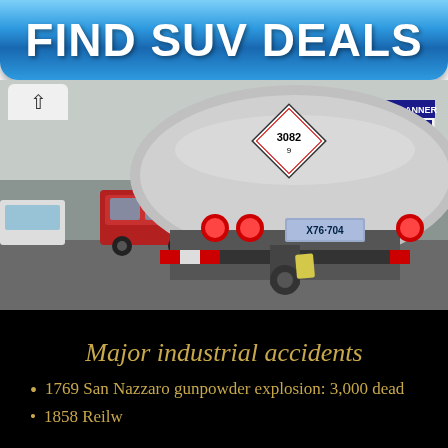[Figure (other): Blue glossy button banner with white bold text reading FIND SUV DEALS]
[Figure (photo): Photo taken from behind a large tanker truck on a road. The tanker has a hazmat placard showing 3082 / 9, red taillights visible, license plate X76-704. A red SUV and other vehicles are visible to the left. A Kinko's sign is visible in the background to the right.]
Major industrial accidents
1769 San Nazzaro gunpowder explosion: 3,000 dead
(partially visible, cut off)